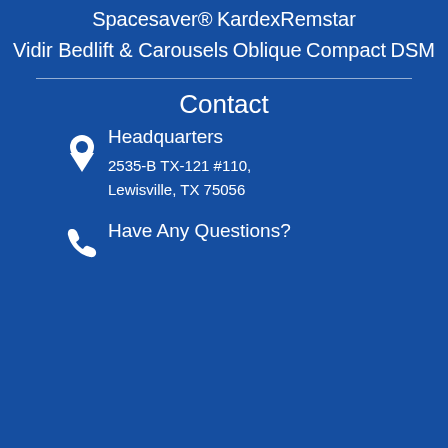Spacesaver®
KardexRemstar
Vidir Bedlift & Carousels
Oblique
Compact
DSM
Contact
Headquarters
2535-B TX-121 #110, Lewisville, TX 75056
Have Any Questions?